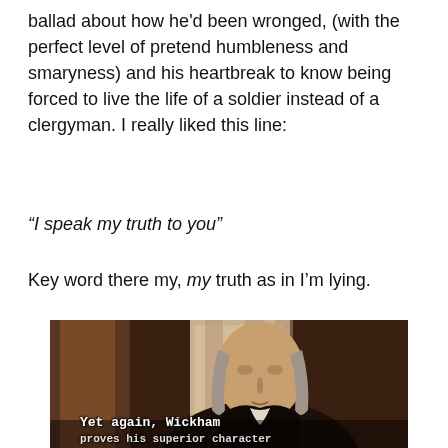ballad about how he'd been wronged, (with the perfect level of pretend humbleness and smaryness) and his heartbreak to know being forced to live the life of a soldier instead of a clergyman. I really liked this line:
“I speak my truth to you”
Key word there my, my truth as in I’m lying.
[Figure (screenshot): A screenshot from a period drama TV show showing an older man with long grey hair wearing a black coat and white cravat, with subtitles at the bottom reading 'Yet again, Wickham proves his superior character']